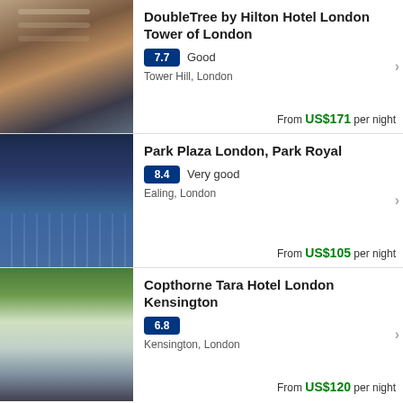[Figure (photo): Interior restaurant/lounge of DoubleTree by Hilton Hotel London Tower of London, showing modern decor with chandelier and city views]
DoubleTree by Hilton Hotel London Tower of London
7.7 Good
Tower Hill, London
From US$171 per night
[Figure (photo): Exterior of Park Plaza London, Park Royal hotel building at dusk, modern multi-story building with grid windows]
Park Plaza London, Park Royal
8.4 Very good
Ealing, London
From US$105 per night
[Figure (photo): Exterior of Copthorne Tara Hotel London Kensington with green foliage in foreground and a black taxi cab]
Copthorne Tara Hotel London Kensington
6.8
Kensington, London
From US$120 per night